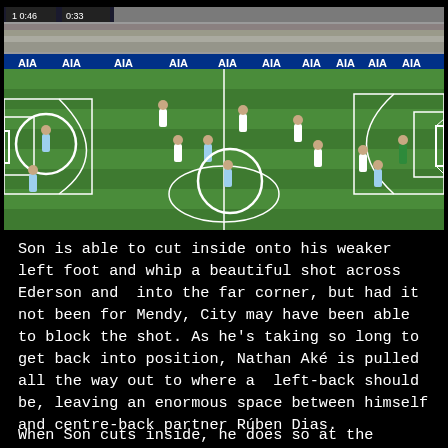[Figure (screenshot): Football match screenshot showing a Premier League game at Tottenham's stadium. Players visible on a grass pitch with AIA advertising boards. Two players are circled in white - one on the left side and one in the centre-right of the pitch near the penalty area.]
Son is able to cut inside onto his weaker left foot and whip a beautiful shot across Ederson and  into the far corner, but had it not been for Mendy, City may have been able to block the shot. As he's taking so long to get back into position, Nathan Aké is pulled all the way out to where a  left-back should be, leaving an enormous space between himself and centre-back partner Rúben Dias.
When Son cuts inside, he does so at the edge...